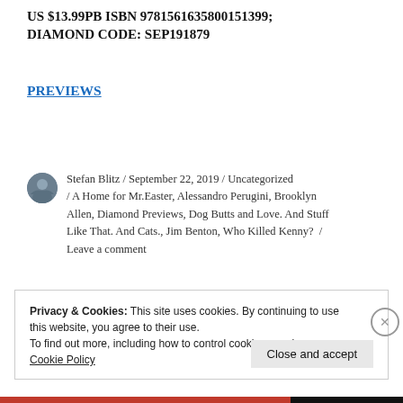US $13.99PB ISBN 9781561635800151399; DIAMOND CODE: SEP191879
PREVIEWS
Stefan Blitz / September 22, 2019 / Uncategorized / A Home for Mr.Easter, Alessandro Perugini, Brooklyn Allen, Diamond Previews, Dog Butts and Love. And Stuff Like That. And Cats., Jim Benton, Who Killed Kenny? / Leave a comment
Privacy & Cookies: This site uses cookies. By continuing to use this website, you agree to their use. To find out more, including how to control cookies, see here: Cookie Policy
Close and accept